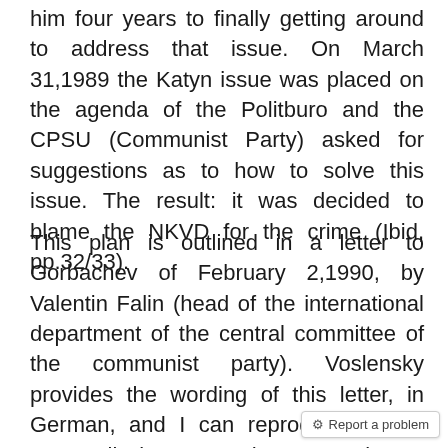him four years to finally getting around to address that issue. On March 31,1989 the Katyn issue was placed on the agenda of the Politburo and the CPSU (Communist Party) asked for suggestions as to how to solve this issue. The result: it was decided to blame the NKVD for the crime (Ibid, pp.32/33).
This plan is outlined in a letter to Gorbachev of February 2,1990, by Valentin Falin (head of the international department of the central committee of the communist party). Voslensky provides the wording of this letter, in German, and I can reproduce it. For now, I'll just paraphrase again: A number of Soviet historians have discovered documents concerning the treatment of PO...